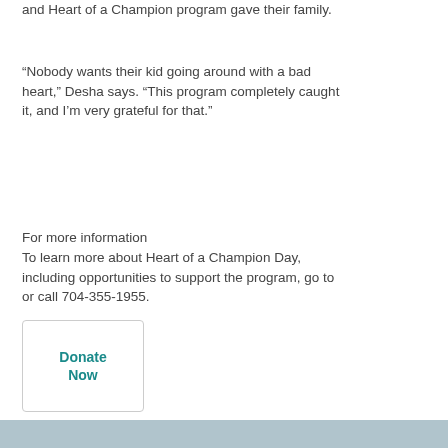and Heart of a Champion program gave their family.
“Nobody wants their kid going around with a bad heart,” Desha says. “This program completely caught it, and I’m very grateful for that.”
For more information
To learn more about Heart of a Champion Day, including opportunities to support the program, go to or call 704-355-1955.
[Figure (other): Donate Now button — a rectangular box with a teal bold 'Donate Now' label inside]